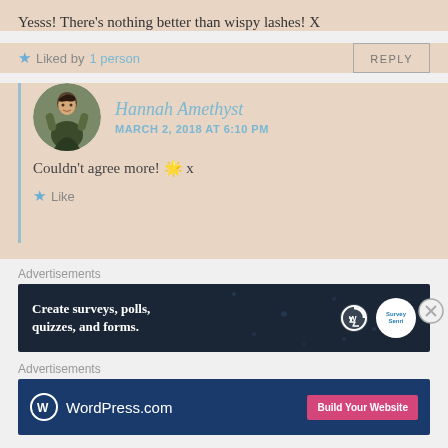Yesss! There's nothing better than wispy lashes! X
Liked by 1 person
Hannah Amethyst
MARCH 2, 2018 AT 6:10 PM
Couldn't agree more! 😊 x
Like
Advertisements
[Figure (screenshot): Dark navy advertisement banner: 'Create surveys, polls, quizzes, and forms.' with WordPress logo and SurveyMonkey badge]
Advertisements
[Figure (screenshot): Dark blue WordPress.com ad banner with WordPress logo and 'Build Your Website' pink button]